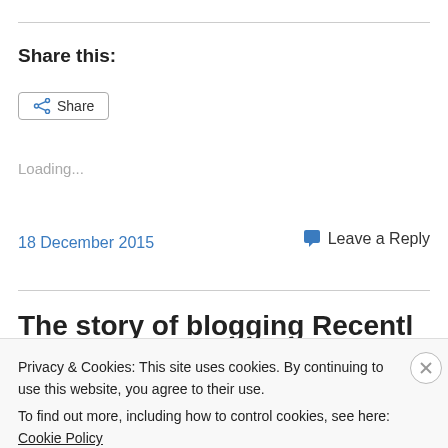Share this:
[Figure (other): Share button with share icon]
Loading...
18 December 2015
Leave a Reply
Privacy & Cookies: This site uses cookies. By continuing to use this website, you agree to their use.
To find out more, including how to control cookies, see here: Cookie Policy
Close and accept